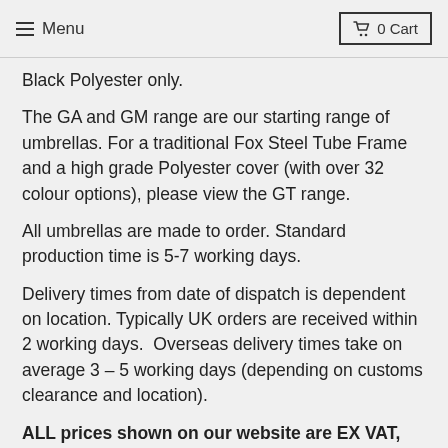Menu  0 Cart
Black Polyester only.
The GA and GM range are our starting range of umbrellas. For a traditional Fox Steel Tube Frame and a high grade Polyester cover (with over 32 colour options), please view the GT range.
All umbrellas are made to order. Standard production time is 5-7 working days.
Delivery times from date of dispatch is dependent on location. Typically UK orders are received within 2 working days.  Overseas delivery times take on average 3 – 5 working days (depending on customs clearance and location).
ALL prices shown on our website are EX VAT, the correct amount of tax will be applied at the checkout